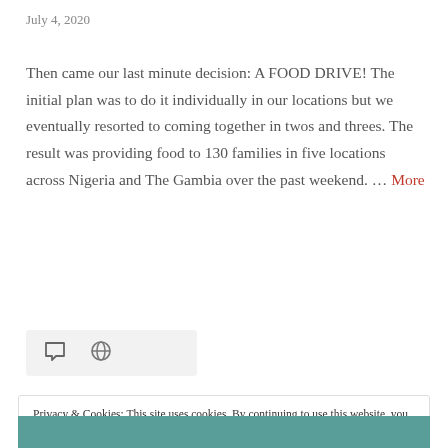July 4, 2020
Then came our last minute decision: A FOOD DRIVE! The initial plan was to do it individually in our locations but we eventually resorted to coming together in twos and threes. The result was providing food to 130 families in five locations across Nigeria and The Gambia over the past weekend. … More
[Figure (other): Icons bar with comment bubble icon and link/chain icon on a light grey background]
Privacy & Cookies: This site uses cookies. By continuing to use this website, you agree to their use.
To find out more, including how to control cookies, see here: Cookie Policy
[Figure (photo): Photo strip at bottom of page showing teal/green outdoor scene, partially visible]